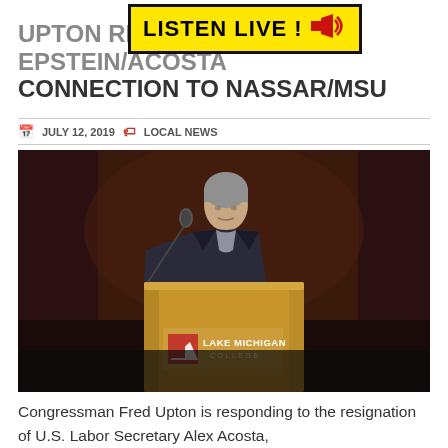[Figure (other): LISTEN LIVE! banner with yellow background, black bold text, and red speaker icon]
UPTON REACTS TO EPSTEIN/ACOSTA CONNECTION TO NASSAR/MSU
JULY 12, 2019   LOCAL NEWS
[Figure (photo): Congressman Fred Upton speaking at a podium with Lake Michigan College branding, in a dark auditorium setting]
Congressman Fred Upton is responding to the resignation of U.S. Labor Secretary Alex Acosta,